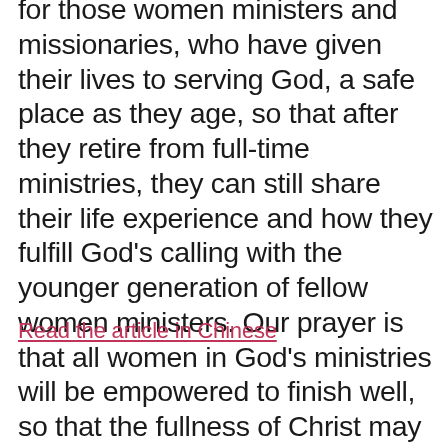for those women ministers and missionaries, who have given their lives to serving God, a safe place as they age, so that after they retire from full-time ministries, they can still share their life experience and how they fulfill God's calling with the younger generation of fellow women ministers. Our prayer is that all women in God's ministries will be empowered to finish well, so that the fullness of Christ may be manifested in all women ministers generation after generation.
Read the article in Chinese